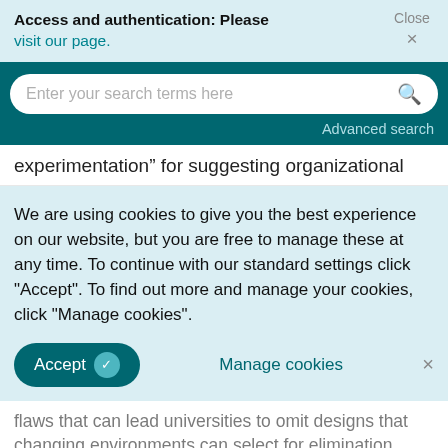Access and authentication: Please visit our page.
[Figure (screenshot): Search bar with placeholder text 'Enter your search terms here' and a search icon, on a dark teal background with 'Advanced search' link below.]
experimentation” for suggesting organizational
We are using cookies to give you the best experience on our website, but you are free to manage these at any time. To continue with our standard settings click "Accept". To find out more and manage your cookies, click "Manage cookies".
Accept   Manage cookies   ×
flaws that can lead universities to omit designs that changing environments can select for elimination.